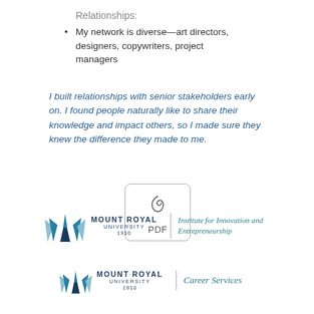Relationships:
My network is diverse—art directors, designers, copywriters, project managers
I built relationships with senior stakeholders early on. I found people naturally like to share their knowledge and impact others, so I made sure they knew the difference they made to me.
[Figure (other): PDF file icon with Adobe Acrobat style symbol and label 'PDF']
[Figure (logo): Mount Royal University logo with crown/leaf graphic, text 'MOUNT ROYAL UNIVERSITY 1910', vertical divider, and 'Institute for Innovation and Entrepreneurship' text]
[Figure (logo): Mount Royal University logo with crown/leaf graphic, text 'MOUNT ROYAL UNIVERSITY 1910', vertical divider, and 'Career Services' text]